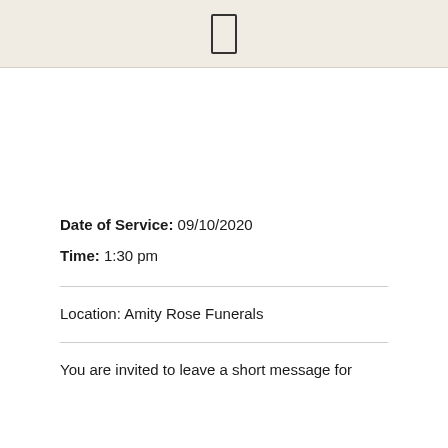Date of Service: 09/10/2020
Time: 1:30 pm
Location: Amity Rose Funerals
You are invited to leave a short message for